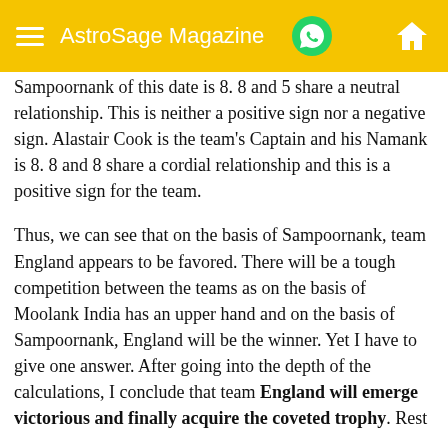AstroSage Magazine
Sampoornank of this date is 8. 8 and 5 share a neutral relationship. This is neither a positive sign nor a negative sign. Alastair Cook is the team's Captain and his Namank is 8. 8 and 8 share a cordial relationship and this is a positive sign for the team.
Thus, we can see that on the basis of Sampoornank, team England appears to be favored. There will be a tough competition between the teams as on the basis of Moolank India has an upper hand and on the basis of Sampoornank, England will be the winner. Yet I have to give one answer. After going into the depth of the calculations, I conclude that team England will emerge victorious and finally acquire the coveted trophy. Rest